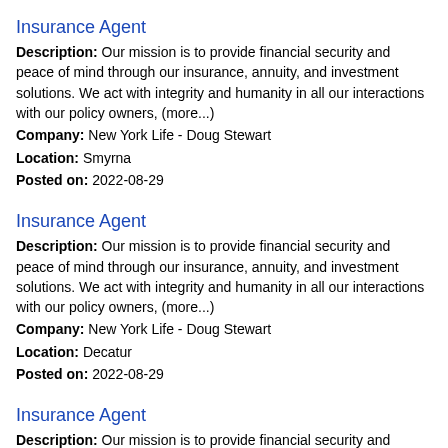Insurance Agent
Description: Our mission is to provide financial security and peace of mind through our insurance, annuity, and investment solutions. We act with integrity and humanity in all our interactions with our policy owners, (more...) Company: New York Life - Doug Stewart Location: Smyrna Posted on: 2022-08-29
Insurance Agent
Description: Our mission is to provide financial security and peace of mind through our insurance, annuity, and investment solutions. We act with integrity and humanity in all our interactions with our policy owners, (more...) Company: New York Life - Doug Stewart Location: Decatur Posted on: 2022-08-29
Insurance Agent
Description: Our mission is to provide financial security and peace of mind through our insurance, annuity, and investment solutions. We act with integrity and humanity in all our interactions with our policy owners, (more...) Company: New York Life - Doug Stewart Location: Atlanta Posted on: 2022-08-29